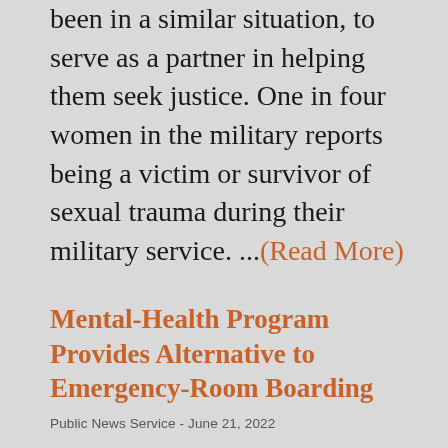been in a similar situation, to serve as a partner in helping them seek justice. One in four women in the military reports being a victim or survivor of sexual trauma during their military service. ...(Read More)
Mental-Health Program Provides Alternative to Emergency-Room Boarding
Public News Service - June 21, 2022
On a given day in Massachusetts, more than 100 children and teenagers are brought to hospital emergency rooms because they're facing a mental health crisis, d...